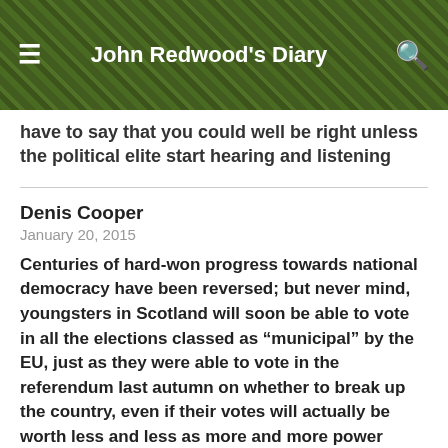John Redwood's Diary
have to say that you could well be right unless the political elite start hearing and listening
Denis Cooper
January 20, 2015
Centuries of hard-won progress towards national democracy have been reversed; but never mind, youngsters in Scotland will soon be able to vote in all the elections classed as “municipal” by the EU, just as they were able to vote in the referendum last autumn on whether to break up the country, even if their votes will actually be worth less and less as more and more power drains away to the EU:
http://...